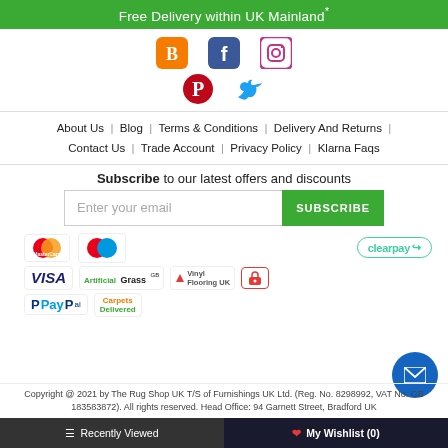Free Delivery within UK Mainland*
[Figure (illustration): Social media icons: Blogger (orange), Facebook (blue), Instagram (gradient pink/purple), Pinterest (red), Twitter (blue)]
About Us | Blog | Terms & Conditions | Delivery And Returns | Contact Us | Trade Account | Privacy Policy | Klarna Faqs
Subscribe to our latest offers and discounts
[Figure (other): Email subscription input box with 'Enter your email' placeholder and green SUBSCRIBE button]
[Figure (other): Payment and partner logos: MasterCard, Maestro/Mastercard circles, Clearpay, VISA, Artificial Grass GB, Vinyl Flooring UK, secure padlock, PayPal, Carpets Delivered]
Copyright @ 2021 by The Rug Shop UK T/S of Furnishings UK Ltd. (Reg. No. 8298992, VAT No. GB 183583872). All rights reserved. Head Office: 94 Garnett Street, Bradford UK
≡ Recently Viewed    ❤ My Wishlist (0)